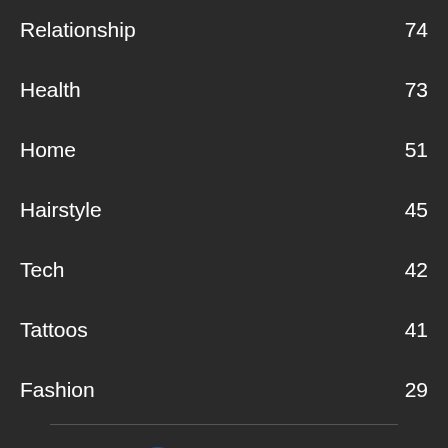Relationship 74
Health 73
Home 51
Hairstyle 45
Tech 42
Tattoos 41
Fashion 29
[Figure (logo): Zarias.com logo — circular Z emblem with blue text reading Zarias.com, tagline DESIGNS, ART & PHOTOGRAPHY]
ABOUT US